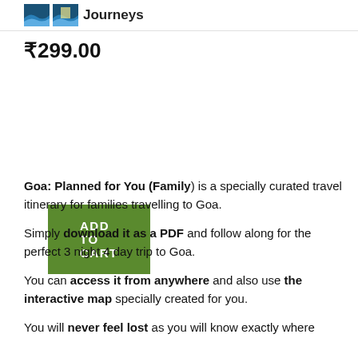Journeys
₹299.00
[Figure (other): Green 'ADD TO CART' button]
Goa: Planned for You (Family) is a specially curated travel itinerary for families travelling to Goa.
Simply download it as a PDF and follow along for the perfect 3 night 4 day trip to Goa.
You can access it from anywhere and also use the interactive map specially created for you.
You will never feel lost as you will know exactly where